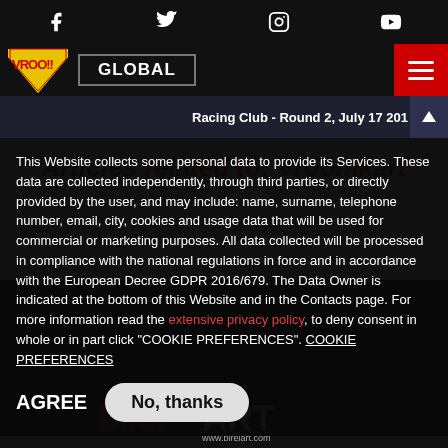Social icons: Facebook, Twitter, Instagram, YouTube
VROO!! GLOBAL [hamburger menu]
[Figure (screenshot): Racing Club - Round 2, July 17 201... banner with navigation arrow]
Articles related to: Vroomkart
This Website collects some personal data to provide its Services. These data are collected independently, through third parties, or directly provided by the user, and may include: name, surname, telephone number, email, city, cookies and usage data that will be used for commercial or marketing purposes. All data collected will be processed in compliance with the national regulations in force and in accordance with the European Decree GDPR 2016/679. The Data Owner is indicated at the bottom of this Website and in the Contacts page. For more information read the extensive privacy policy, to deny consent in whole or in part click "COOKIE PREFERENCES". COOKIE PREFERENCES
AGREE  No, thanks